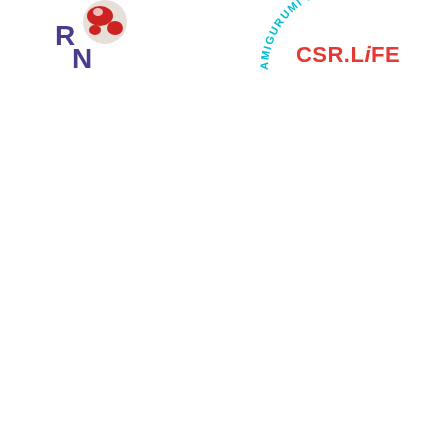[Figure (logo): Partial logo on left side: letters R and N in dark purple/violet with a red and white crocheted ball/amigurumi figure partially visible]
[Figure (logo): CSR.LIFE logo on right side: circular text reading AMIGURUMI PATTERNS in cyan/light blue arranged in an arc, with CSR.LiFE in bold red text in the center]